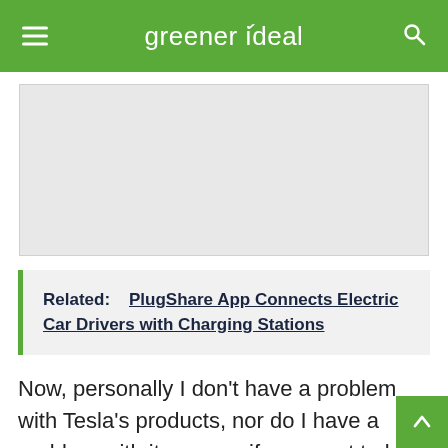greener ideal
[Figure (other): Advertisement / image placeholder area]
Related:   PlugShare App Connects Electric Car Drivers with Charging Stations
Now, personally I don't have a problem with Tesla's products, nor do I have a problem with its owner; if you want to buy and own an